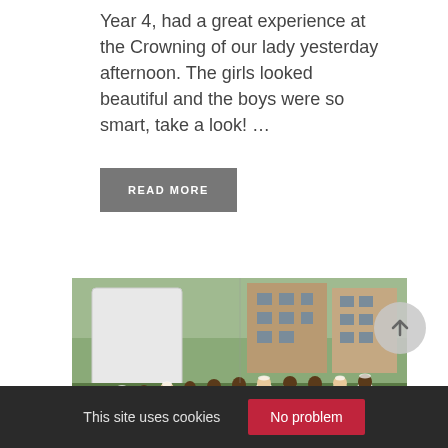Year 4, had a great experience at the Crowning of our lady yesterday afternoon. The girls looked beautiful and the boys were so smart, take a look! ...
READ MORE
[Figure (photo): Group of children dressed in white standing outdoors in a schoolyard, with a large white cylindrical structure and brick buildings in the background.]
This site uses cookies
No problem